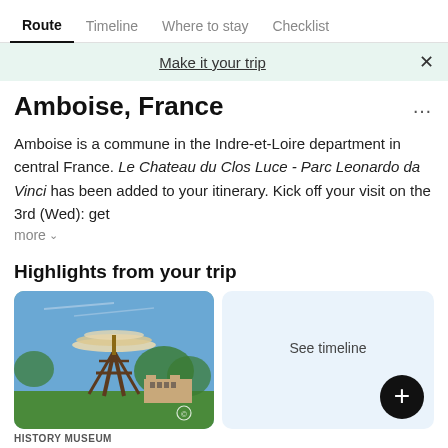Route | Timeline | Where to stay | Checklist
Make it your trip
Amboise, France
Amboise is a commune in the Indre-et-Loire department in central France. Le Chateau du Clos Luce - Parc Leonardo da Vinci has been added to your itinerary. Kick off your visit on the 3rd (Wed): get
more
Highlights from your trip
[Figure (photo): Outdoor sculpture resembling Leonardo da Vinci's aerial screw / helicopter design, wooden frame with disc-shaped top, garden setting with blue sky and historic building in background]
HISTORY MUSEUM
See timeline